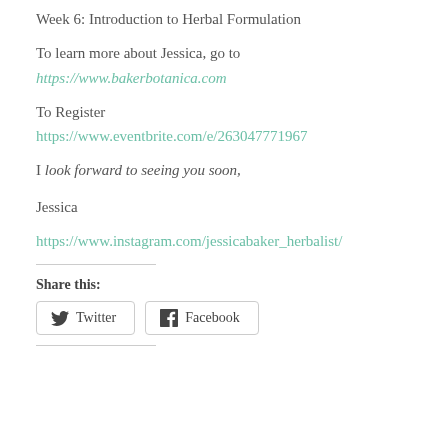Week 6: Introduction to Herbal Formulation
To learn more about Jessica, go to
https://www.bakerbotanica.com
To Register
https://www.eventbrite.com/e/263047771967
I look forward to seeing you soon,
Jessica
https://www.instagram.com/jessicabaker_herbalist/
Share this:
Twitter   Facebook